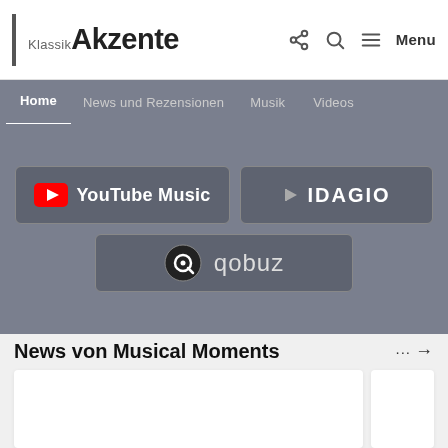Klassik Akzente — Menu, Search, Share
Home | News und Rezensionen | Musik | Videos
[Figure (screenshot): Streaming service buttons: YouTube Music, IDAGIO, qobuz on a grey background]
News von Musical Moments
[Figure (other): White card content area, partially visible second card]